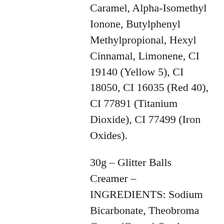Caramel, Alpha-Isomethyl Ionone, Butylphenyl Methylpropional, Hexyl Cinnamal, Limonene, CI 19140 (Yellow 5), CI 18050, CI 16035 (Red 40), CI 77891 (Titanium Dioxide), CI 77499 (Iron Oxides).
30g – Glitter Balls Creamer – INGREDIENTS: Sodium Bicarbonate, Theobroma Cacao (Cocoa) Seed Butter, Citric Acid, Zea Mays (Corn) Starch, Sucrose, Sodium Lauryl Sulfate, Lac (Milk), Parfum (Fragrance), Butyrospermum Parkii (Shea Butter), Hydroxypropyl Methylcellulose, Aqua (Water), Hydrolyzed Corn Starch, Solanum Tuberosum (Potato) Starch, Oryza Sativa (Rice) Starch, Propylene Glycol, Aroma (Flavor), Lecithin, Sodium